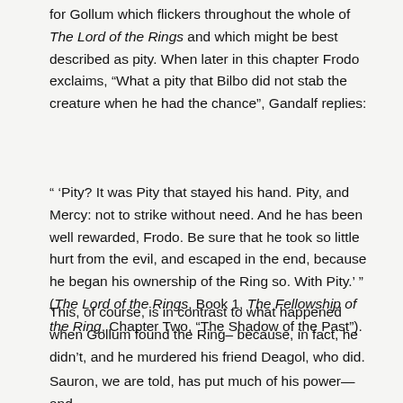for Gollum which flickers throughout the whole of The Lord of the Rings and which might be best described as pity. When later in this chapter Frodo exclaims, “What a pity that Bilbo did not stab the creature when he had the chance”, Gandalf replies:
“ ‘Pity? It was Pity that stayed his hand. Pity, and Mercy: not to strike without need. And he has been well rewarded, Frodo. Be sure that he took so little hurt from the evil, and escaped in the end, because he began his ownership of the Ring so. With Pity.’ ” (The Lord of the Rings, Book 1, The Fellowship of the Ring, Chapter Two, “The Shadow of the Past”).
This, of course, is in contrast to what happened when Gollum found the Ring– because, in fact, he didn’t, and he murdered his friend Deagol, who did.
Sauron, we are told, has put much of his power—and